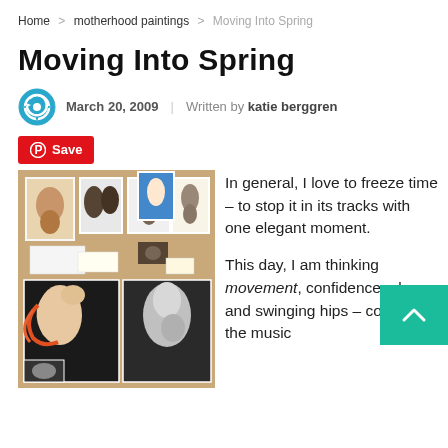Home > motherhood paintings > Moving Into Spring
Moving Into Spring
March 20, 2009 | Written by katie berggren
Save
[Figure (photo): Photo of motherhood paintings pinned on a corkboard, showing several artworks of mothers and children in various styles.]
In general, I love to freeze time – to stop it in its tracks with one elegant moment.

This day, I am thinking movement, confidence, glee and swinging hips – could it be the music